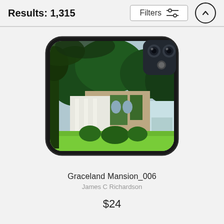Results: 1,315
[Figure (screenshot): A phone case product showing a photo of Graceland Mansion with green trees, white columns, and lush lawn. The phone case has a rounded rectangular shape with a camera cutout on the upper right.]
Graceland Mansion_006
James C Richardson
$24